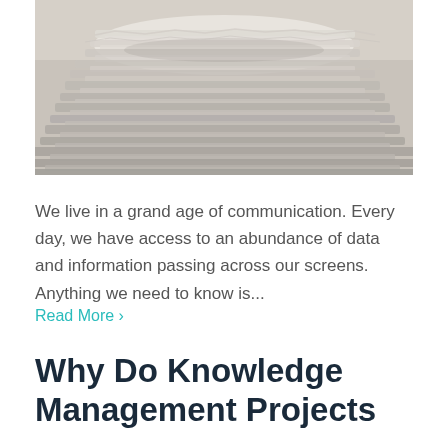[Figure (photo): A photograph of a large stack of papers piled high, viewed from the side, showing layers of loose documents accumulated in a disorganized pile. The image is in muted grey-white tones.]
We live in a grand age of communication. Every day, we have access to an abundance of data and information passing across our screens. Anything we need to know is...
Read More ›
Why Do Knowledge Management Projects